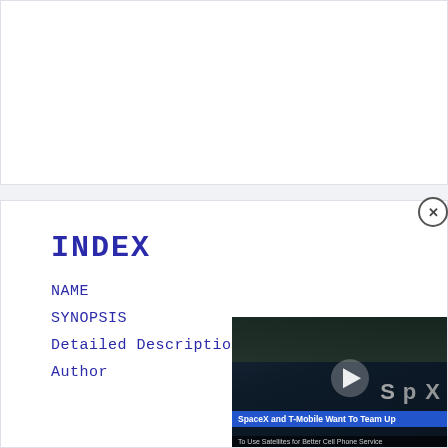INDEX
NAME
SYNOPSIS
Detailed Description
Author